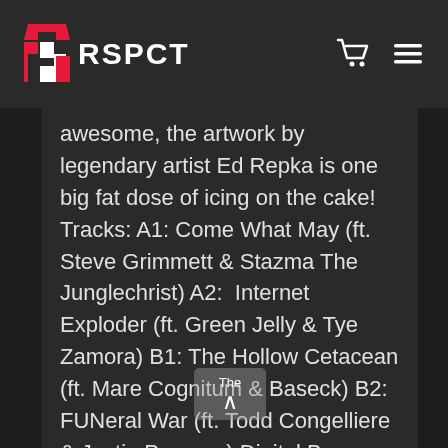RSPCT
awesome, the artwork by legendary artist Ed Repka is one big fat dose of icing on the cake! Tracks: A1: Come What May (ft. Steve Grimmett & Stazma The Junglechrist) A2:  Internet Exploder (ft. Green Jelly & Tye Zamora) B1: The Hollow Cetacean (ft. Mare Cognitum & Baseck) B2: FUNeral War (ft. Todd Congelliere & Justin Pearson) Digital Bonus: 05. Come What May (Gizmode Remix) 06. Internet Exploder (Passenger of Shit Remix) 07. The Hollow Cetacean (Acrnym Remix) 08. FUNeral War (Big Lad Remix) Available